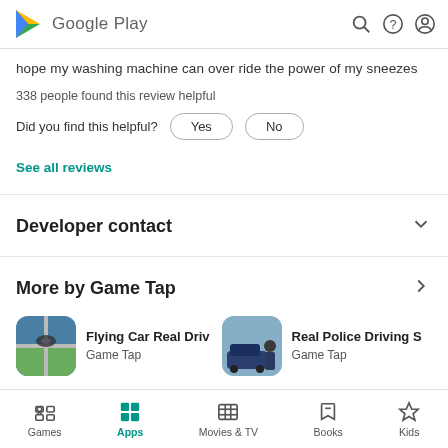Google Play
hope my washing machine can over ride the power of my sneezes
338 people found this review helpful
Did you find this helpful?  Yes  No
See all reviews
Developer contact
More by Game Tap
[Figure (screenshot): Flying Car Real Driv app icon - aerial city view with flying car]
Flying Car Real Driv
Game Tap
[Figure (screenshot): Real Police Driving S app icon - police officer next to police car]
Real Police Driving S
Game Tap
Games  Apps  Movies & TV  Books  Kids